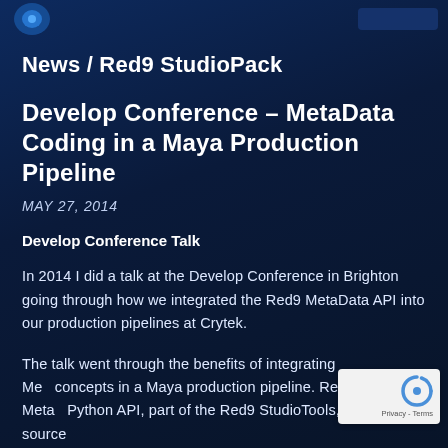News / Red9 StudioPack
Develop Conference – MetaData Coding in a Maya Production Pipeline
MAY 27, 2014
Develop Conference Talk
In 2014 I did a talk at the Develop Conference in Brighton going through how we integrated the Red9 MetaData API into our production pipelines at Crytek.
The talk went through the benefits of integrating MetaData concepts in a Maya production pipeline. Red9 MetaData Python API, part of the Red9 StudioTools, an open source